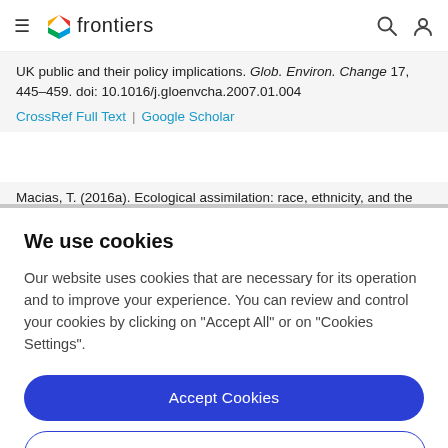frontiers
UK public and their policy implications. Glob. Environ. Change 17, 445–459. doi: 10.1016/j.gloenvcha.2007.01.004
CrossRef Full Text | Google Scholar
Macias, T. (2016a). Ecological assimilation: race, ethnicity, and the
We use cookies
Our website uses cookies that are necessary for its operation and to improve your experience. You can review and control your cookies by clicking on "Accept All" or on "Cookies Settings".
Accept Cookies
Cookies Settings